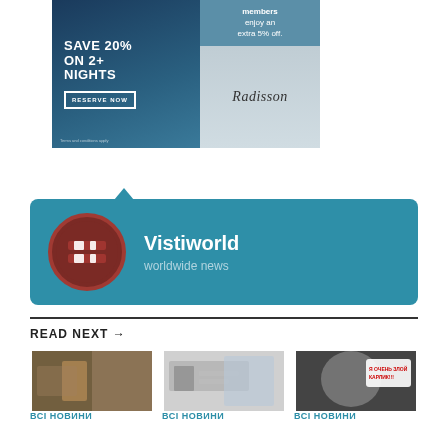[Figure (infographic): Radisson hotel advertisement banner: left side dark blue with 'SAVE 20% ON 2+ NIGHTS' text and 'RESERVE NOW' button, right side shows 'members enjoy an extra 5% off' and Radisson logo]
[Figure (infographic): Vistiworld worldwide news card with teal background, circular dark red icon with horizontal bars, showing 'Vistiworld' in bold white and 'worldwide news' in light text]
READ NEXT →
[Figure (photo): Photo of a person outdoors in earth tones]
ВСІ НОВИНИ
[Figure (photo): Photo of people at a conference table with Ukrainian flag]
ВСІ НОВИНИ
[Figure (photo): Photo of a person with speech bubble text in Russian]
ВСІ НОВИНИ